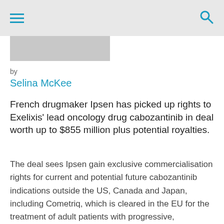Navigation header with hamburger menu and search icon
[Figure (photo): Partial image placeholder, grey rectangle at top of article]
by
Selina McKee
French drugmaker Ipsen has picked up rights to Exelixis' lead oncology drug cabozantinib in deal worth up to $855 million plus potential royalties.
The deal sees Ipsen gain exclusive commercialisation rights for current and potential future cabozantinib indications outside the US, Canada and Japan, including Cometriq, which is cleared in the EU for the treatment of adult patients with progressive, unresectable, locally advanced or metastatic medullary thyroid